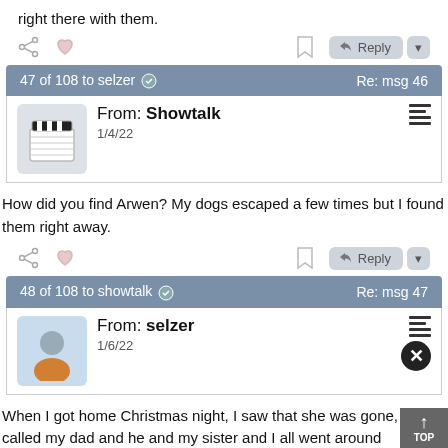right there with them.
47 of 108 to selzer ⊙   Re: msg 46
From: Showtalk
1/4/22
How did you find Arwen? My dogs escaped a few times but I found them right away.
48 of 108 to showtalk ⊙   Re: msg 47
From: selzer
1/6/22
When I got home Christmas night, I saw that she was gone, and I called my dad and he and my sister and I all went around looking and calling for her. My dad talked to the state to fall...